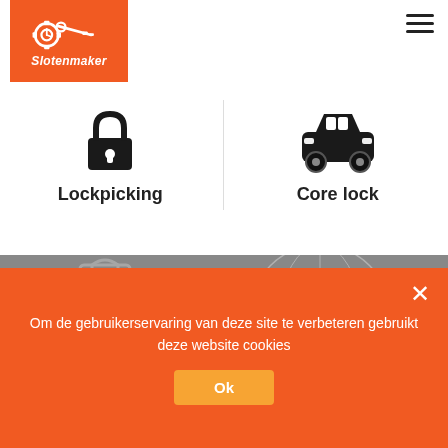[Figure (logo): Slotenmaker logo: orange block with clock/key/gear icon and italic white text 'Slotenmaker']
[Figure (illustration): Lockpicking icon: padlock outline symbol]
Lockpicking
[Figure (illustration): Core lock icon: car/vehicle symbol]
Core lock
[Figure (photo): Gray-toned background with padlock and globe/network imagery]
Satisfied customers
Om de gebruikerservaring van deze site te verbeteren gebruikt deze website cookies
Ok